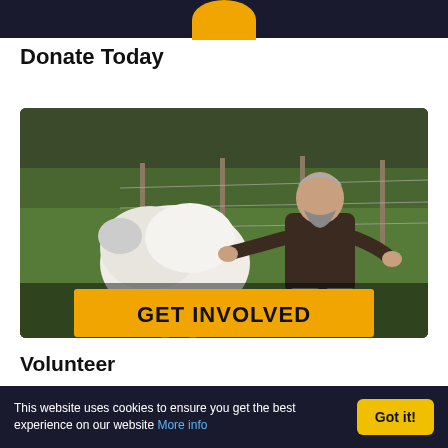[Figure (photo): Partial view of a golden coin/circle on a dark banner at the top of the page]
Donate Today
[Figure (photo): A man in a dark jacket crouching and wrestling with a white sheep in a green field with wire fencing in the background. Overlaid with a yellow 'GET INVOLVED' button.]
Volunteer
Volunteer today to help your local Lib Dem team in East Dunbartonshire.
This website uses cookies to ensure you get the best experience on our website More info  Got it!